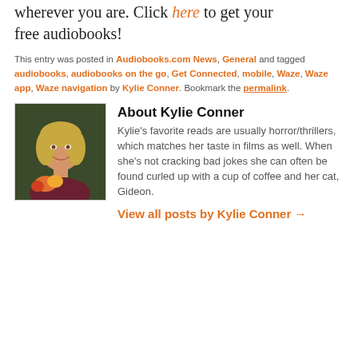wherever you are. Click here to get your free audiobooks!
This entry was posted in Audiobooks.com News, General and tagged audiobooks, audiobooks on the go, Get Connected, mobile, Waze, Waze app, Waze navigation by Kylie Conner. Bookmark the permalink.
[Figure (photo): Portrait photo of Kylie Conner, a young woman with blonde hair, smiling, holding flowers]
About Kylie Conner
Kylie's favorite reads are usually horror/thrillers, which matches her taste in films as well. When she's not cracking bad jokes she can often be found curled up with a cup of coffee and her cat, Gideon.
View all posts by Kylie Conner →